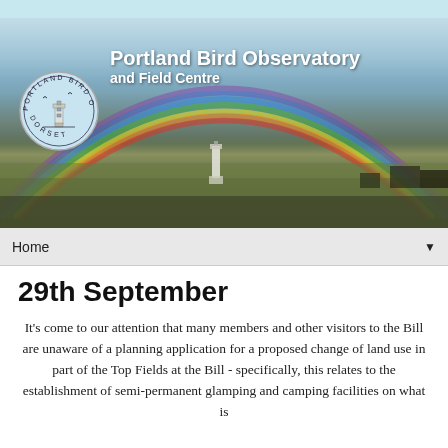[Figure (photo): Portland Bird Observatory and Field Centre website header banner showing a landscape photo with a rainbow arching over green fields and a lighthouse, with the organization logo (circular badge with lighthouse illustration and text 'Portland Bird Observatory Dorset') and bold white text reading 'Portland Bird Observatory and Field Centre']
Home ▼
29th September
It's come to our attention that many members and other visitors to the Bill are unaware of a planning application for a proposed change of land use in part of the Top Fields at the Bill - specifically, this relates to the establishment of semi-permanent glamping and camping facilities on what is